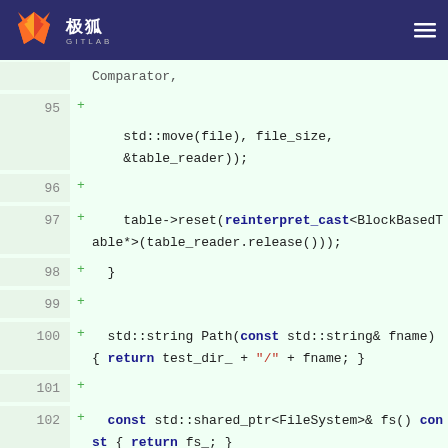极狐 GITLAB
[Figure (screenshot): GitLab code diff view showing C++ code lines 95-106 with added lines (green +) showing table reader reset, Path function, fs() const function, private members including test_dir_ string, Env* env_]